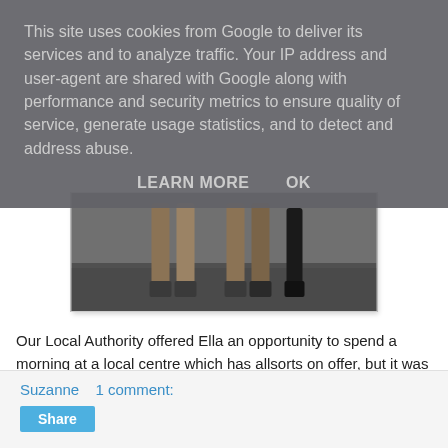This site uses cookies from Google to deliver its services and to analyze traffic. Your IP address and user-agent are shared with Google along with performance and security metrics to ensure quality of service, generate usage statistics, and to detect and address abuse.
LEARN MORE    OK
[Figure (photo): Close-up photo of horse legs / hooves on a paved/gravel surface, cropped from a larger image.]
Our Local Authority offered Ella an opportunity to spend a morning at a local centre which has allsorts on offer, but it was felt wall climbing etc. might be a bit difficult. So Ella spent the morning with the animals, culminating in riding a horse! First time ever. Jeff reckoned she looked more stable on the hourse, than on her 2 feet!
Suzanne    1 comment:
Share